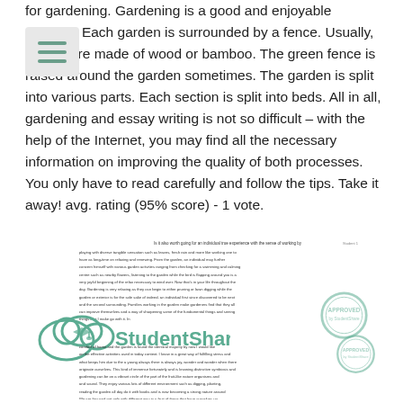for gardening. Gardening is a good and enjoyable pastime. Each garden is surrounded by a fence. Usually, fences are made of wood or bamboo. The green fence is raised around the garden sometimes. The garden is split into various parts. Each section is split into beds. All in all, gardening and essay writing is not so difficult – with the help of the Internet, you may find all the necessary information on improving the quality of both processes. You only have to read carefully and follow the tips. Take it away! avg. rating (95% score) - 1 vote.
[Figure (screenshot): A preview/thumbnail of a StudentShare essay document page with a StudentShare watermark logo overlaid on the document text.]